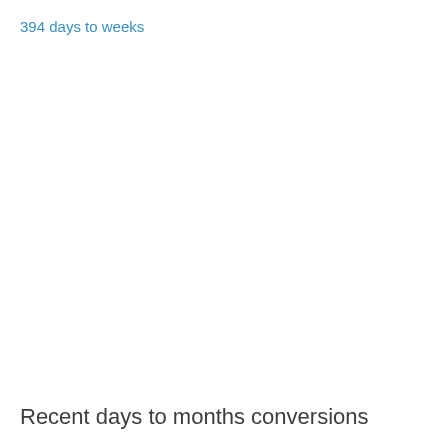394 days to weeks
Recent days to months conversions